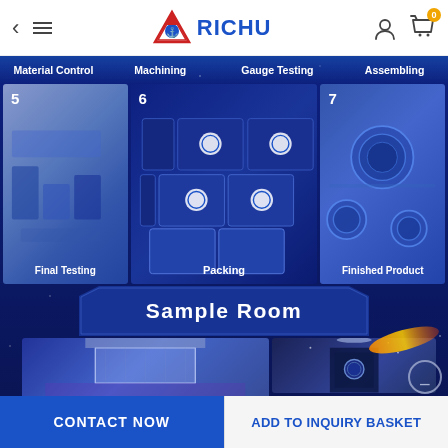RICHU — Back, Menu, Logo, User icon, Cart (0)
[Figure (photo): Manufacturing process grid showing steps 5 Final Testing, 6 Packing, 7 Finished Product with labels Material Control, Machining, Gauge Testing, Assembling above]
Sample Room
[Figure (photo): Sample room interior photos showing display showroom with blue lighting and product displays]
CONTACT NOW | ADD TO INQUIRY BASKET